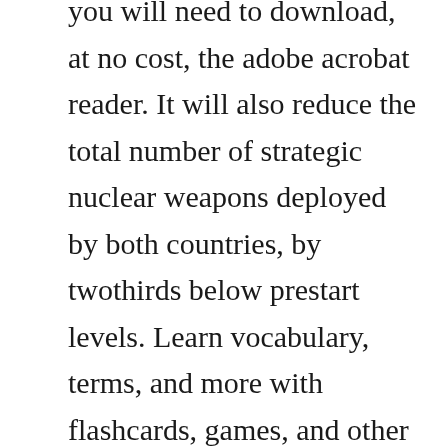you will need to download, at no cost, the adobe acrobat reader. It will also reduce the total number of strategic nuclear weapons deployed by both countries, by twothirds below prestart levels. Learn vocabulary, terms, and more with flashcards, games, and other study tools. Eventually start ii and start iii were superseded by a further arms reduction treaty signed in 2002. The three papers offered in this monograph provide a detailed analysis of the insurgency and counterinsurgency campaigns being conducted by islamist rebels against russia in